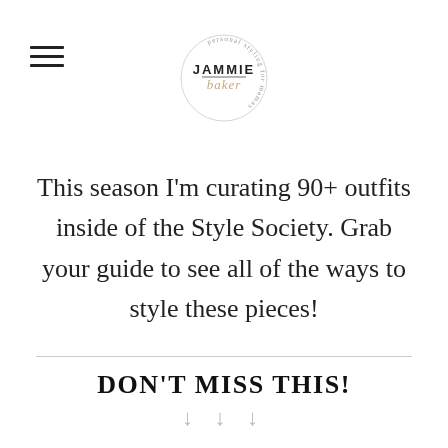[Figure (logo): Jammie Baker personal styling for mamas circular logo with hamburger menu icon on left]
This season I'm curating 90+ outfits inside of the Style Society. Grab your guide to see all of the ways to style these pieces!
DON'T MISS THIS!
↓ ↓ ↓